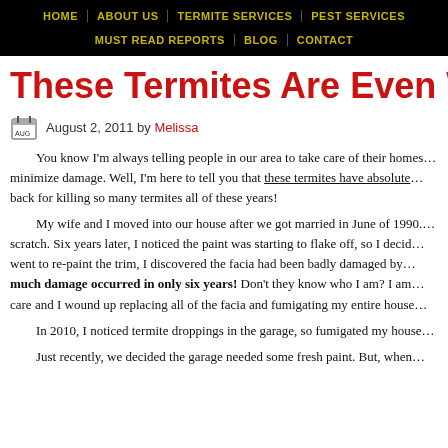HOME | ABOUT US | TERMITE SERVICES | PEST SERVICES | MUST READ REPORTS | BLOG | CONTACT
These Termites Are Even Worse Than
August 2, 2011 by Melissa
You know I'm always telling people in our area to take care of their homes… minimize damage. Well, I'm here to tell you that these termites have absolute… back for killing so many termites all of these years!
My wife and I moved into our house after we got married in June of 1990.… scratch. Six years later, I noticed the paint was starting to flake off, so I decid… went to re-paint the trim, I discovered the facia had been badly damaged by… much damage occurred in only six years! Don't they know who I am? I am… care and I wound up replacing all of the facia and fumigating my entire house…
In 2010, I noticed termite droppings in the garage, so fumigated my house…
Just recently, we decided the garage needed some fresh paint. But, when…